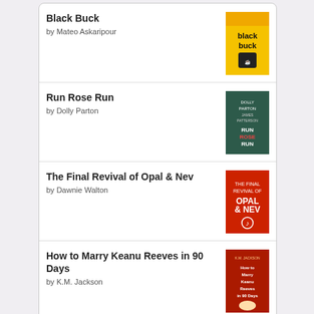Black Buck by Mateo Askaripour
Run Rose Run by Dolly Parton
The Final Revival of Opal & Nev by Dawnie Walton
How to Marry Keanu Reeves in 90 Days by K.M. Jackson
[Figure (logo): Goodreads logo button]